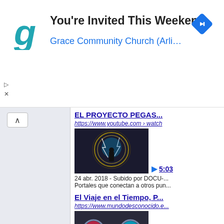[Figure (screenshot): Advertisement banner: 'You're Invited This Weekend - Grace Community Church (Arli...' with Google-style g logo in teal and a blue navigation arrow icon on the right]
[Figure (screenshot): Left sidebar panel with light blue-gray background and a caret/chevron up button]
EL PROYECTO PEGAS...
https://www.youtube.com › watch
[Figure (screenshot): YouTube video thumbnail showing a figure with lightning/energy portal background, duration 5:03]
24 abr. 2018 - Subido por DOCU-... Portales que conectan a otros pun...
El Viaje en el Tiempo, P...
https://www.mundodesconocido.e...
[Figure (screenshot): Video thumbnail showing a person between two glowing circular portals (red and blue/teal), duration 10:55]
21 nov. 2017 - Subido por Mundo... Un candidato a la casa blanca, hia...